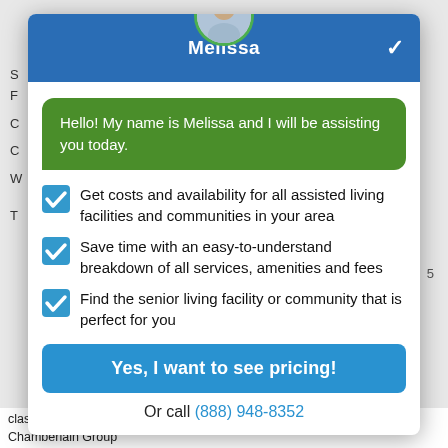[Figure (screenshot): Chat widget popup featuring an assistant named Melissa with a blue header, green speech bubble, three checked list items, a blue CTA button, and a phone number.]
Hello! My name is Melissa and I will be assisting you today.
Get costs and availability for all assisted living facilities and communities in your area
Save time with an easy-to-understand breakdown of all services, amenities and fees
Find the senior living facility or community that is perfect for you
Yes, I want to see pricing!
Or call (888) 948-8352
classes, personalized service plans and an on site dietitian. Thresholds Chamberlain Group